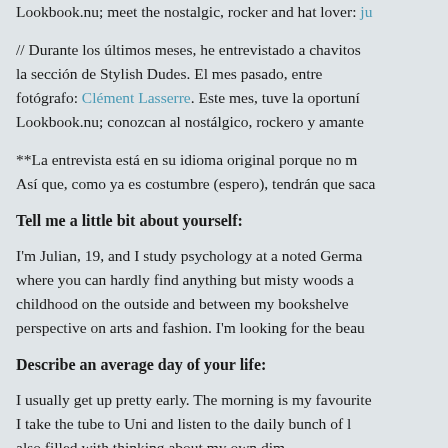Lookbook.nu; meet the nostalgic, rocker and hat lover: [link]
// Durante los últimos meses, he entrevistado a chavitos la sección de Stylish Dudes. El mes pasado, entre fotógrafo: Clément Lasserre. Este mes, tuve la oportunidad Lookbook.nu; conozcan al nostálgico, rockero y amante
**La entrevista está en su idioma original porque no m Así que, como ya es costumbre (espero), tendrán que saca
Tell me a little bit about yourself:
I'm Julian, 19, and I study psychology at a noted Germa where you can hardly find anything but misty woods a childhood on the outside and between my bookshelve perspective on arts and fashion. I'm looking for the beau
Describe an average day of your life:
I usually get up pretty early. The morning is my favourite I take the tube to Uni and listen to the daily bunch of k also fill...